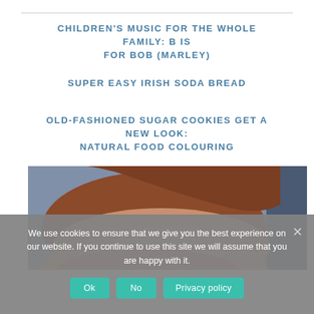CHILDREN'S MUSIC FOR THE WHOLE FAMILY: B IS FOR BOB (MARLEY)
SUPER EASY IRISH SODA BREAD
OLD-FASHIONED SUGAR COOKIES GET A NEW LOOK: NATURAL FOOD COLOURING
[Figure (photo): Close-up photo of a baby's head with reddish-brown hair against a blue fabric background]
We use cookies to ensure that we give you the best experience on our website. If you continue to use this site we will assume that you are happy with it.
Ok   No   Privacy policy